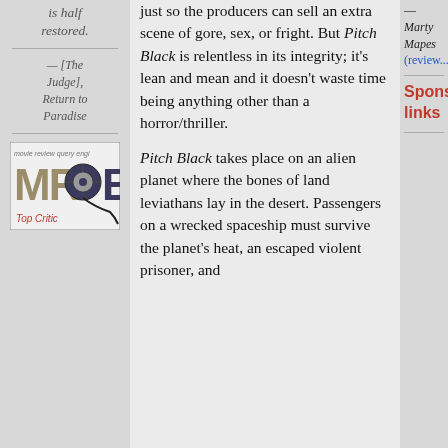is half restored.
— [The Judge], Return to Paradise
[Figure (logo): Movie Review Query Engine (MRQE) Top Critic logo badge]
just so the producers can sell an extra scene of gore, sex, or fright. But Pitch Black is relentless in its integrity; it's lean and mean and it doesn't waste time being anything other than a horror/thriller.
Pitch Black takes place on an alien planet where the bones of land leviathans lay in the desert. Passengers on a wrecked spaceship must survive the planet's heat, an escaped violent prisoner, and
—Marty Mapes (review...)
Sponsc links